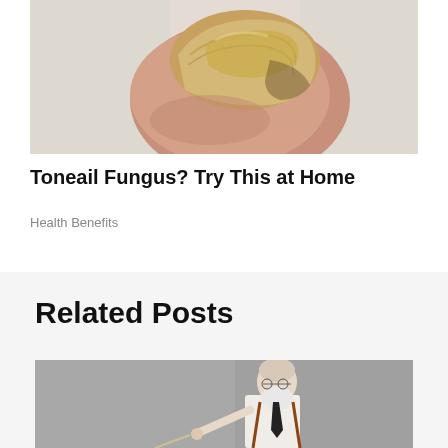[Figure (photo): Close-up photo of a toenail affected by fungus, with yellowish discoloration, on a white sandy/grainy background]
Toneail Fungus? Try This at Home
Health Benefits
Related Posts
[Figure (photo): An elderly bald man with a white beard wearing suspenders and a dark tie, holding a pointer stick, photographed against a grey background]